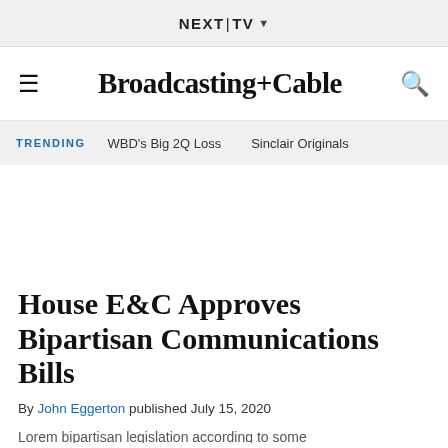NEXT|TV ▾
Broadcasting+Cable
TRENDING   WBD's Big 2Q Loss   Sinclair Originals
House E&C Approves Bipartisan Communications Bills
By John Eggerton published July 15, 2020